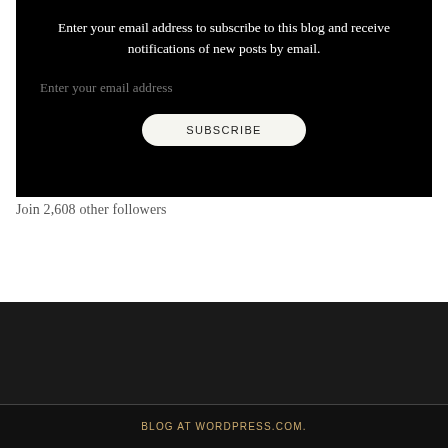Enter your email address to subscribe to this blog and receive notifications of new posts by email.
Enter your email address
SUBSCRIBE
Join 2,608 other followers
BLOG AT WORDPRESS.COM.